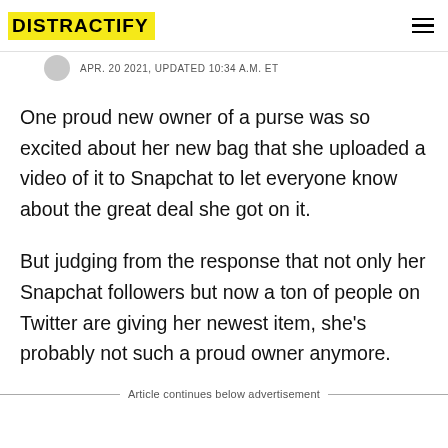DISTRACTIFY
APR. 20 2021, UPDATED 10:34 A.M. ET
One proud new owner of a purse was so excited about her new bag that she uploaded a video of it to Snapchat to let everyone know about the great deal she got on it.
But judging from the response that not only her Snapchat followers but now a ton of people on Twitter are giving her newest item, she's probably not such a proud owner anymore.
Article continues below advertisement